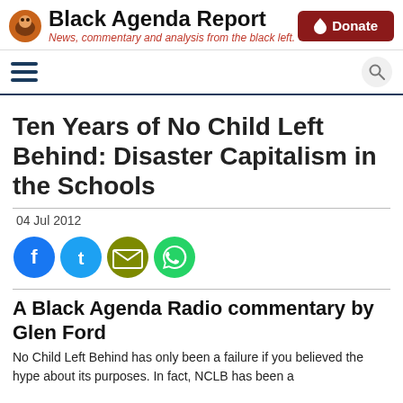Black Agenda Report — News, commentary and analysis from the black left.
Ten Years of No Child Left Behind: Disaster Capitalism in the Schools
04 Jul 2012
[Figure (infographic): Social share icons: Facebook, Twitter, Email, WhatsApp]
A Black Agenda Radio commentary by Glen Ford
No Child Left Behind has only been a failure if you believed the hype about its purposes. In fact, NCLB has been a